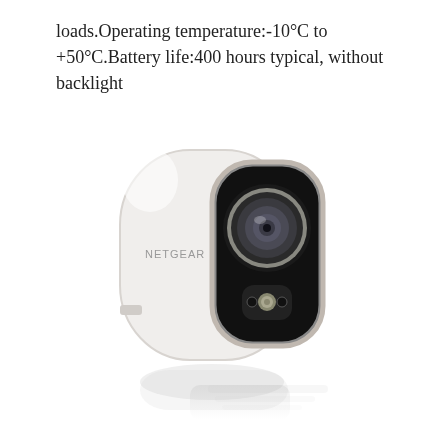loads.Operating temperature:-10°C to +50°C.Battery life:400 hours typical, without backlight
[Figure (photo): A white Netgear Arlo wireless security camera with a rounded rectangular body, black lens housing with camera lens and IR sensor visible, shown at a slight angle with a reflection beneath it on a white background.]